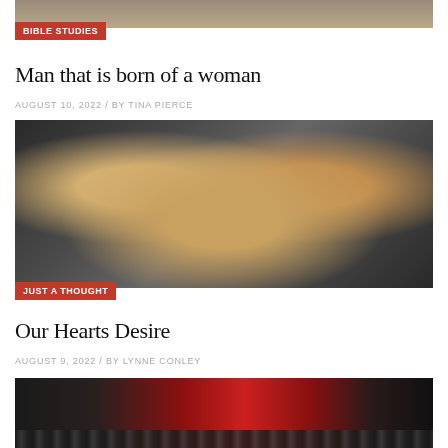[Figure (photo): Top partial image of a scene (cropped at top of page)]
BIBLE STUDIES
Man that is born of a woman
AUGUST 10, 2022 / BY TINA PIERCE
[Figure (photo): Black and white photo of multiple hands holding a wooden heart-shaped object]
JUST A THOUGHT
Our Hearts Desire
AUGUST 9, 2022 / BY LYNNE CONLEY
[Figure (photo): Partial image at bottom showing chains and red/dark background (cropped)]